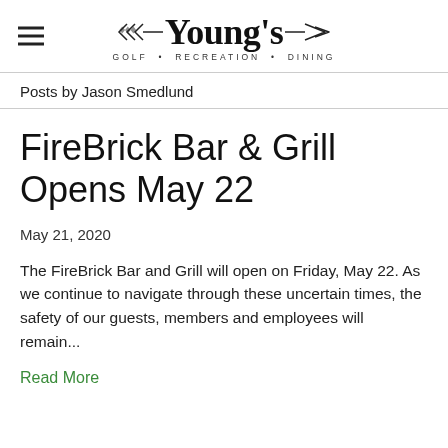Young's — GOLF • RECREATION • DINING
Posts by Jason Smedlund
FireBrick Bar & Grill Opens May 22
May 21, 2020
The FireBrick Bar and Grill will open on Friday, May 22. As we continue to navigate through these uncertain times, the safety of our guests, members and employees will remain...
Read More